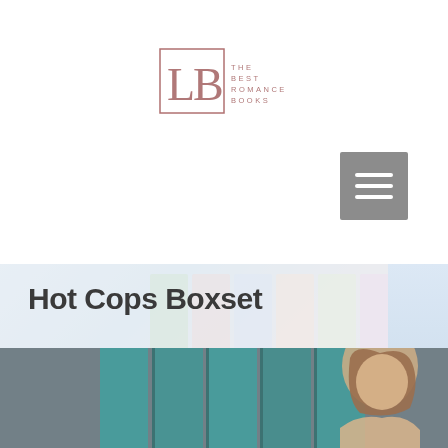[Figure (logo): LB - The Best Romance Books logo with serif LB letters in muted rose/mauve color and small text reading THE BEST ROMANCE BOOKS]
[Figure (other): Grey hamburger menu button with three white horizontal lines]
Hot Cops Boxset
[Figure (photo): Blurred book boxset covers with teal/dark spines and a woman with brown hair visible, partially cropped]